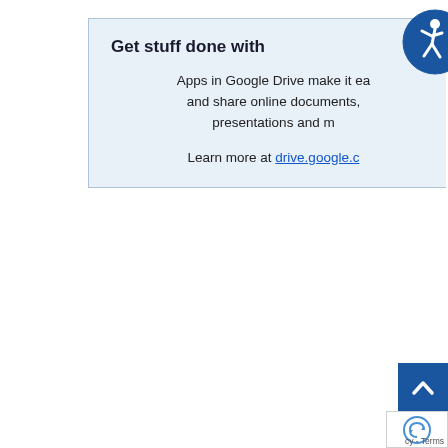Get stuff done with
Apps in Google Drive make it ea and share online documents, presentations and m
Learn more at drive.google.c
[Figure (logo): Circular accessibility icon with blue background showing a person in motion]
[Figure (other): Blue back-to-top button with upward chevron arrow]
[Figure (logo): reCAPTCHA badge partially visible]
cy - Terms